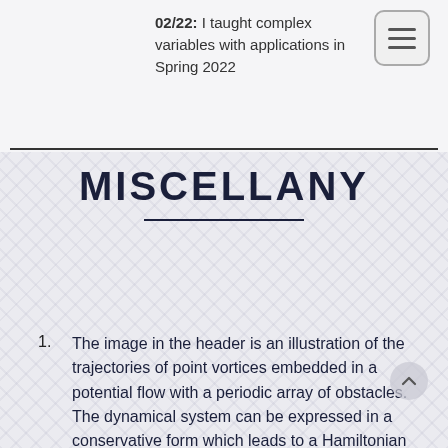02/22: I taught complex variables with applications in Spring 2022
MISCELLANY
The image in the header is an illustration of the trajectories of point vortices embedded in a potential flow with a periodic array of obstacles. The dynamical system can be expressed in a conservative form which leads to a Hamiltonian that describes the vortex paths. The colours denote the energy of each configuration: red means highly energetic states whereas blue corresponds to states with low interaction energy. Analytic expressions for the trajectories are available in a canonical circular domain which is then mapped to the physical domain using a new periodic Schwarz–